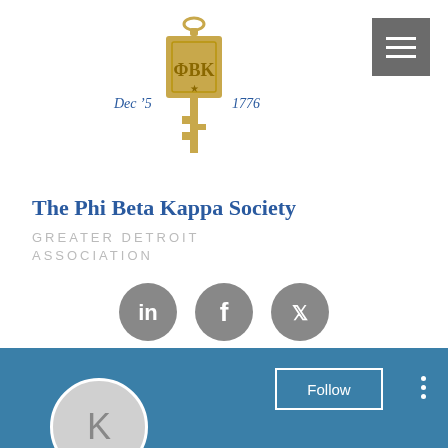[Figure (logo): Phi Beta Kappa gold key logo with 'Dec 5 1776' text and ΦΒΚ monogram]
The Phi Beta Kappa Society
GREATER DETROIT ASSOCIATION
[Figure (illustration): Social media icons: LinkedIn, Facebook, Twitter in grey circles]
[Figure (screenshot): Blue banner with Follow button and three-dot menu, grey avatar circle with letter K]
Казино bitstarz промокоды к...
0 Followers • 0 Following